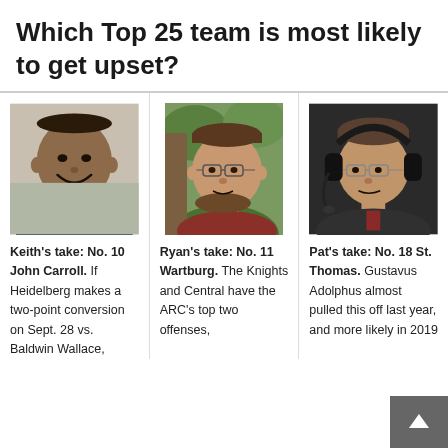Which Top 25 team is most likely to get upset?
[Figure (photo): Headshot of Keith, a smiling Black man in a suit with a white flower boutonnière]
Keith's take: No. 10 John Carroll. If Heidelberg makes a two-point conversion on Sept. 28 vs. Baldwin Wallace,
[Figure (photo): Headshot of Ryan, a white man with glasses and a beard, outdoors near a tree]
Ryan's take: No. 11 Wartburg. The Knights and Central have the ARC's top two offenses,
[Figure (photo): Headshot of Pat, a man wearing headphones/headset and glasses, in a broadcast setting]
Pat's take: No. 18 St. Thomas. Gustavus Adolphus almost pulled this off last year, and more likely in 2019